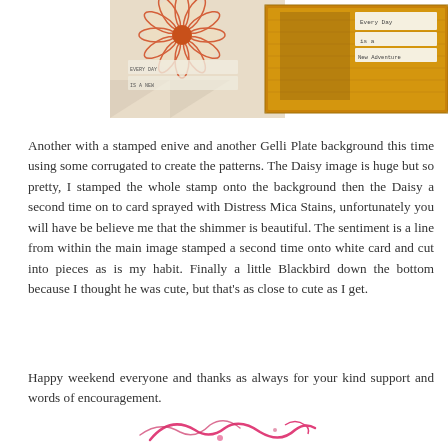[Figure (photo): Handmade cards with stamped daisy and Gelli Plate backgrounds, featuring text snippets including 'Every Day is a New Adventure', displayed on a lace-like background.]
Another with a stamped enive and another Gelli Plate background this time using some corrugated to create the patterns. The Daisy image is huge but so pretty, I stamped the whole stamp onto the background then the Daisy a second time on to card sprayed with Distress Mica Stains, unfortunately you will have be believe me that the shimmer is beautiful. The sentiment is a line from within the main image stamped a second time onto white card and cut into pieces as is my habit. Finally a little Blackbird down the bottom because I thought he was cute, but that's as close to cute as I get.
Happy weekend everyone and thanks as always for your kind support and words of encouragement.
[Figure (illustration): Pink decorative signature/flourish at the bottom of the page.]